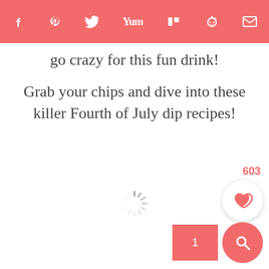Social share bar with icons: Facebook, Pinterest, Twitter, Yummly, Mix, Reddit, Email
go crazy for this fun drink!
Grab your chips and dive into these killer Fourth of July dip recipes!
[Figure (other): Loading spinner (circular dashed animation indicator)]
[Figure (other): Pink/salmon thumbnail placeholder with number 1]
[Figure (other): Heart/favorite button showing count 603, white circular button with salmon heart icon]
[Figure (other): Search button, salmon circular button with white magnifying glass icon]